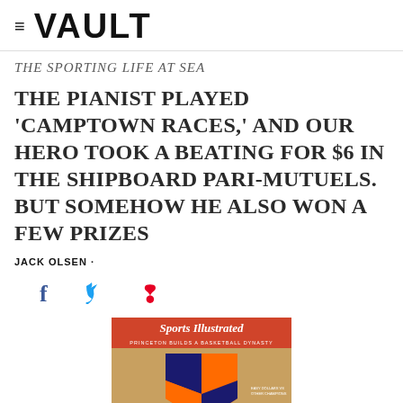≡ VAULT
THE SPORTING LIFE AT SEA
THE PIANIST PLAYED 'CAMPTOWN RACES,' AND OUR HERO TOOK A BEATING FOR $6 IN THE SHIPBOARD PARI-MUTUELS. BUT SOMEHOW HE ALSO WON A FEW PRIZES
JACK OLSEN ·
[Figure (photo): Social media share icons: Facebook (f), Twitter (bird), Pinterest (p)]
[Figure (photo): Sports Illustrated magazine cover showing Princeton Builds a Basketball Dynasty with the Princeton shield and two people]